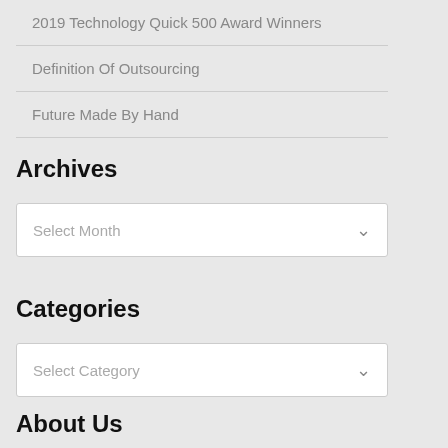2019 Technology Quick 500 Award Winners
Definition Of Outsourcing
Future Made By Hand
Archives
Select Month
Categories
Select Category
About Us
Sitemap